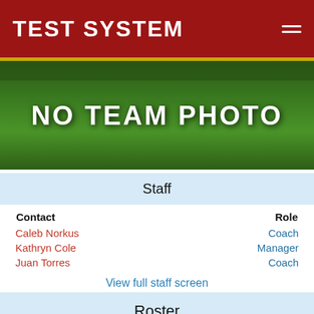TEST SYSTEM
[Figure (photo): Team photo placeholder image showing a green field with text NO TEAM PHOTO overlaid in white]
Staff
| Contact | Role |
| --- | --- |
| Caleb Norkus | Coach |
| Kathryn Cole | Manager |
| Juan Torres | Coach |
View full staff screen
Roster
| No. | Name | Position |
| --- | --- | --- |
| 20 | Justin Bauer |  |
| 16 | Wilson |  |
| 8 | Lance |  |
| 2 | Liam |  |